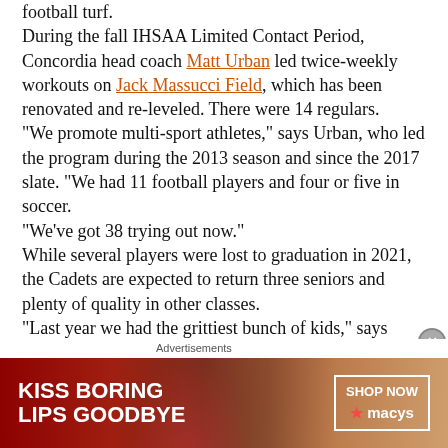football turf.
During the fall IHSAA Limited Contact Period, Concordia head coach Matt Urban led twice-weekly workouts on Jack Massucci Field, which has been renovated and re-leveled. There were 14 regulars.
"We promote multi-sport athletes," says Urban, who led the program during the 2013 season and since the 2017 slate. "We had 11 football players and four or five in soccer.
"We've got 38 trying out now."
While several players were lost to graduation in 2021, the Cadets are expected to return three seniors and plenty of quality in other classes.
"Last year we had the grittiest bunch of kids," says Urban, who saw some into the work force with 2021 graduates Tyler Grossman (University of Saint Francis in Fort Wayne) Cooper Harris (Siena Heights University in Michigan) going to play
[Figure (other): Advertisement banner for Macy's: 'KISS BORING LIPS GOODBYE' with a photo of a woman with red lips, and a 'SHOP NOW' call-to-action button with the Macy's star logo.]